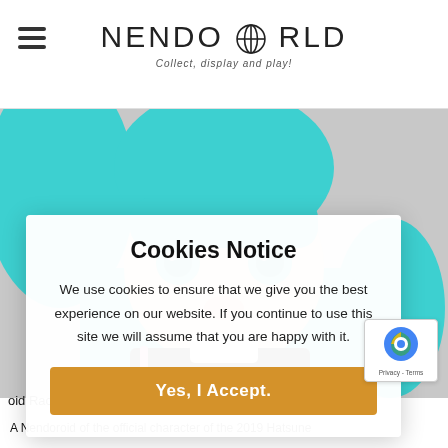NENDOWORLD — Collect, display and play!
[Figure (photo): Close-up photo of a Hatsune Miku Nendoroid figure with teal twin tails, large eyes, and colorful outfit against a grey background.]
Cookies Notice
We use cookies to ensure that we give you the best experience on our website. If you continue to use this site we will assume that you are happy with it.
Yes, I Accept.
A Nendoroid of the official character of the 2019 Hatsune